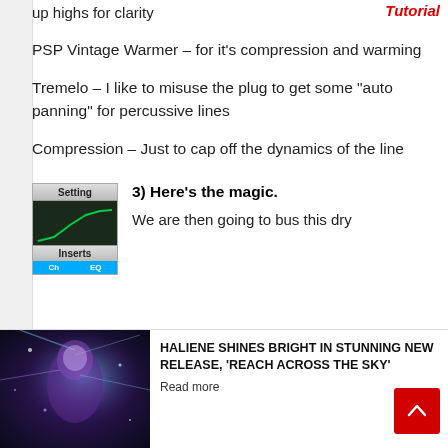Tutorial
up highs for clarity
PSP Vintage Warmer – for it's compression and warming
Tremelo – I like to misuse the plug to get some “auto panning” for percussive lines
Compression – Just to cap off the dynamics of the line
3)  Here’s the magic.
[Figure (screenshot): Plugin interface showing Setting tab, EQ/graph screen with green curve, Inserts section, and blue channel buttons]
We are then going to bus this dry
[Figure (photo): Colorful fantasy illustration of a woman with blue/purple glowing lights]
HALIENE SHINES BRIGHT IN STUNNING NEW RELEASE, ‘REACH ACROSS THE SKY’
Read more